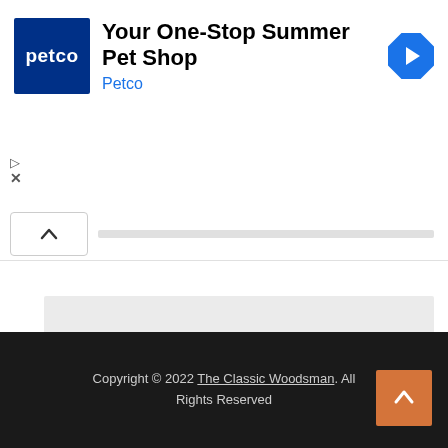[Figure (screenshot): Petco advertisement banner with Petco logo, text 'Your One-Stop Summer Pet Shop', brand name 'Petco' in blue, and a blue navigation arrow icon on the right. Small play and close (X) controls on the left side.]
[Figure (screenshot): UI collapse bar with an upward caret (^) button on the left and a gray horizontal bar extending to the right.]
[Figure (screenshot): Gray placeholder content block 1]
[Figure (screenshot): Gray placeholder content block 2]
Copyright © 2022 The Classic Woodsman. All Rights Reserved